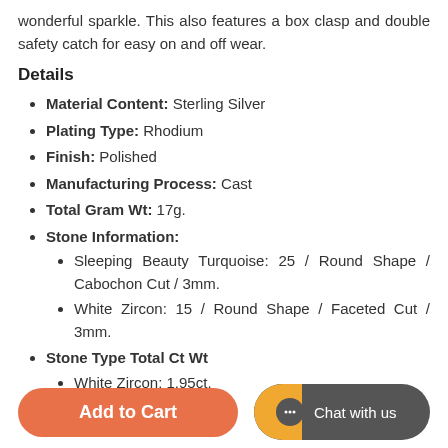wonderful sparkle. This also features a box clasp and double safety catch for easy on and off wear.
Details
Material Content: Sterling Silver
Plating Type: Rhodium
Finish: Polished
Manufacturing Process: Cast
Total Gram Wt: 17g.
Stone Information: Sleeping Beauty Turquoise: 25 / Round Shape / Cabochon Cut / 3mm. White Zircon: 15 / Round Shape / Faceted Cut / 3mm.
Stone Type Total Ct Wt White Zircon: 1.95ct.